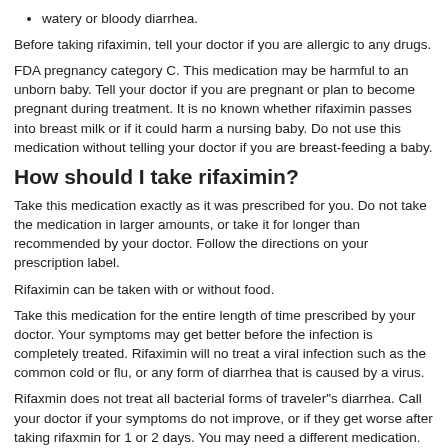watery or bloody diarrhea.
Before taking rifaximin, tell your doctor if you are allergic to any drugs.
FDA pregnancy category C. This medication may be harmful to an unborn baby. Tell your doctor if you are pregnant or plan to become pregnant during treatment. It is not known whether rifaximin passes into breast milk or if it could harm a nursing baby. Do not use this medication without telling your doctor if you are breast-feeding a baby.
How should I take rifaximin?
Take this medication exactly as it was prescribed for you. Do not take the medication in larger amounts, or take it for longer than recommended by your doctor. Follow the directions on your prescription label.
Rifaximin can be taken with or without food.
Take this medication for the entire length of time prescribed by your doctor. Your symptoms may get better before the infection is completely treated. Rifaximin will not treat a viral infection such as the common cold or flu, or any form of diarrhea that is caused by a virus.
Rifaxmin does not treat all bacterial forms of traveler"s diarrhea. Call your doctor if your symptoms do not improve, or if they get worse after taking rifaxmin for 1 or 2 days. You may need a different medication.
Store this medication at room temperature away from moisture and heat.
What happens if I miss a dose?